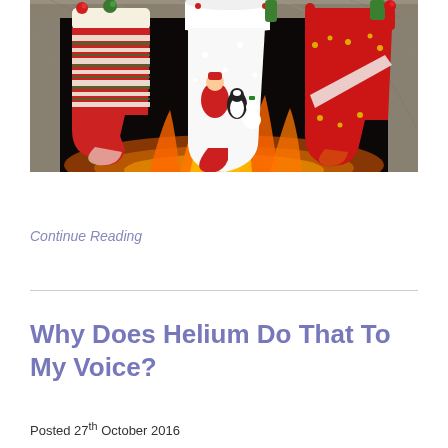[Figure (photo): Three Christmas stockings hanging above a fireplace with flames visible. Left stocking is knitted with red, white, and green stripes with a green pom-pom. Middle stocking is white with Christmas character decorations including penguins and a snowman. Right stocking is red with gold snowflake pattern and diagonal white stripe.]
Continue Reading
Why Does Helium Do That To My Voice?
Posted 27th October 2016